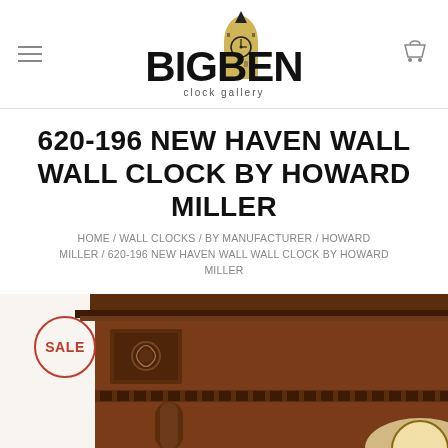[Figure (logo): Big Ben Clock Gallery logo — stylized Big Ben tower with clock face, text 'BIGBEN' in bold, and 'clock gallery' in smaller text below]
620-196 NEW HAVEN WALL WALL CLOCK BY HOWARD MILLER
HOME / WALL CLOCKS / BY MANUFACTURER / HOWARD MILLER / 620-196 NEW HAVEN WALL WALL CLOCK BY HOWARD MILLER
[Figure (photo): Product photo of a dark cherry wood wall clock (Howard Miller 620-196 New Haven) showing the ornate carved wooden case top portion with decorative panels and column details. A red circular SALE badge is overlaid in the top-left corner.]